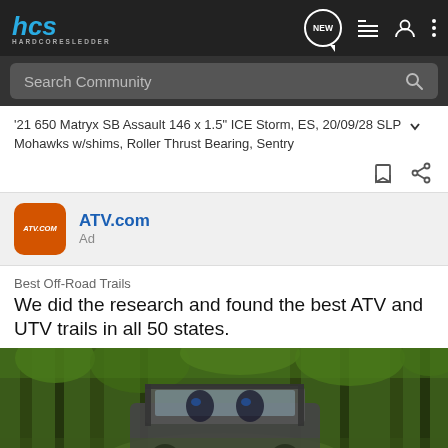[Figure (screenshot): HCS HardcoreSledder navigation bar with logo, NEW bubble icon, list icon, user icon, and dots menu icon on dark background]
Search Community
'21 650 Matryx SB Assault 146 x 1.5" ICE Storm, ES, 20/09/28 SLP Mohawks w/shims, Roller Thrust Bearing, Sentry
[Figure (logo): ATV.com orange rounded square logo icon]
ATV.com
Ad
Best Off-Road Trails
We did the research and found the best ATV and UTV trails in all 50 states.
[Figure (photo): A UTV side-by-side vehicle with occupants driving through a lush green forest trail]